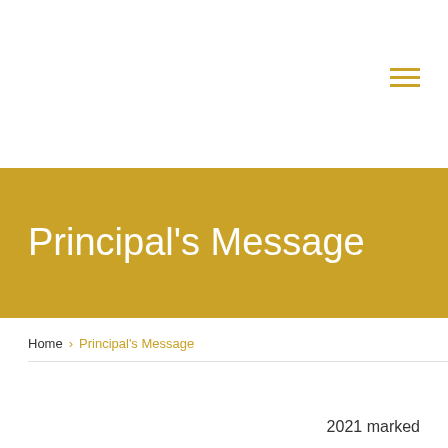[Figure (other): Hamburger menu icon with three horizontal golden lines in top right corner]
Principal's Message
Home / Principal's Message
2021 marked